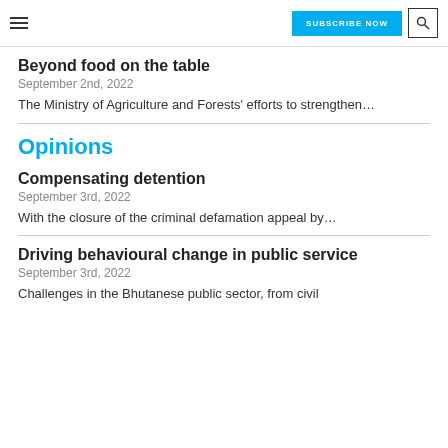SUBSCRIBE NOW
Beyond food on the table
September 2nd, 2022
The Ministry of Agriculture and Forests' efforts to strengthen…
Opinions
Compensating detention
September 3rd, 2022
With the closure of the criminal defamation appeal by…
Driving behavioural change in public service
September 3rd, 2022
Challenges in the Bhutanese public sector, from civil